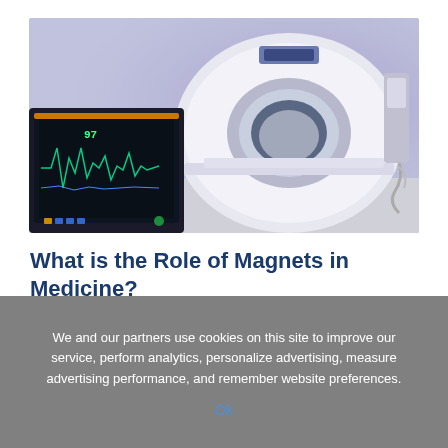[Figure (photo): MRI machine in a clinical setting with a monitor displaying vital signs in the foreground and the MRI scanner bore in the background, lit with purple ambient lighting]
What is the Role of Magnets in Medicine?
07/12/2022
IntroductionThe role of magnets in diagnosing and treating cancerThe use of magnets in medicine for
We and our partners use cookies on this site to improve our service, perform analytics, personalize advertising, measure advertising performance, and remember website preferences.
Ok